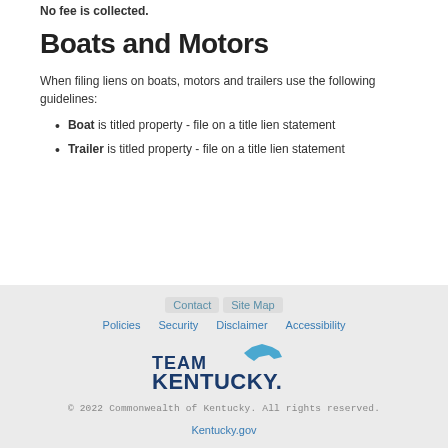No fee is collected.
Boats and Motors
When filing liens on boats, motors and trailers use the following guidelines:
Boat is titled property - file on a title lien statement
Trailer is titled property - file on a title lien statement
Contact  Site Map  Policies  Security  Disclaimer  Accessibility  TEAM KENTUCKY  © 2022 Commonwealth of Kentucky. All rights reserved.  Kentucky.gov